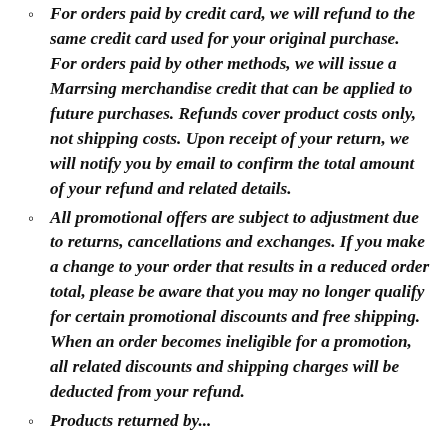For orders paid by credit card, we will refund to the same credit card used for your original purchase. For orders paid by other methods, we will issue a Marrsing merchandise credit that can be applied to future purchases. Refunds cover product costs only, not shipping costs. Upon receipt of your return, we will notify you by email to confirm the total amount of your refund and related details.
All promotional offers are subject to adjustment due to returns, cancellations and exchanges. If you make a change to your order that results in a reduced order total, please be aware that you may no longer qualify for certain promotional discounts and free shipping. When an order becomes ineligible for a promotion, all related discounts and shipping charges will be deducted from your refund.
Products returned by...